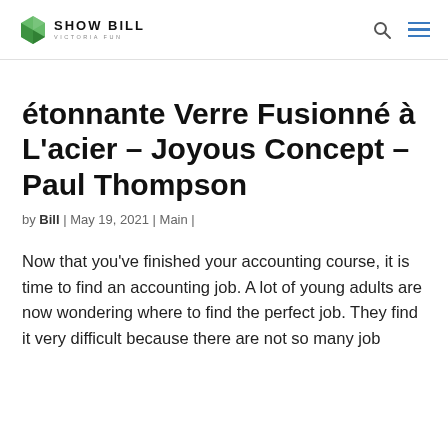SHOW BILL VICTORIA FUN
étonnante Verre Fusionné à L'acier – Joyous Concept – Paul Thompson
by Bill | May 19, 2021 | Main |
Now that you've finished your accounting course, it is time to find an accounting job. A lot of young adults are now wondering where to find the perfect job. They find it very difficult because there are not so many job